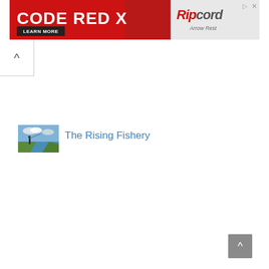[Figure (screenshot): Advertisement banner for CODE RED X Ripcord Arrow Rest with red background, archery reel image, and LEARN MORE button]
[Figure (other): Collapse/accordion up-arrow button (^) in white panel with border]
[Figure (photo): Thumbnail photo of The Rising Fishery showing a lake or pond with a person fishing, green grass, blue sky with clouds]
The Rising Fishery
[Figure (other): Scroll-to-top button (^) in grey square at bottom right]